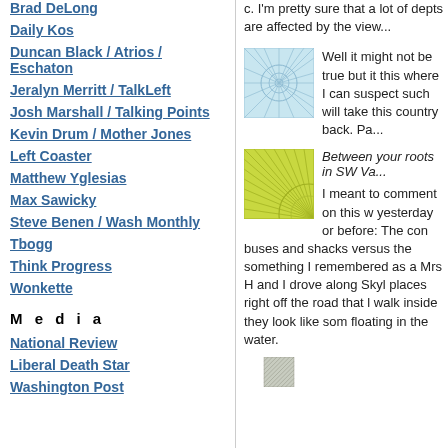Brad DeLong
Daily Kos
Duncan Black / Atrios / Eschaton
Jeralyn Merritt / TalkLeft
Josh Marshall / Talking Points
Kevin Drum / Mother Jones
Left Coaster
Matthew Yglesias
Max Sawicky
Steve Benen / Wash Monthly
Tbogg
Think Progress
Wonkette
M e d i a
National Review
Liberal Death Star
Washington Post
c. I'm pretty sure that a lot of depts are affected by the view...
[Figure (illustration): Square thumbnail with blue geometric radial pattern on light blue background]
Well it might not be true but it this where I can suspect such will take this country back. Pa...
[Figure (illustration): Square thumbnail with yellow-green geometric radial pattern on green background]
Between your roots in SW Va...
I meant to comment on this w yesterday or before: The con buses and shacks versus the something I remembered as a Mrs H and I drove along Skyl places right off the road that l walk inside they look like som floating in the water.
[Figure (illustration): Square thumbnail with dark geometric pattern, partial view at bottom]